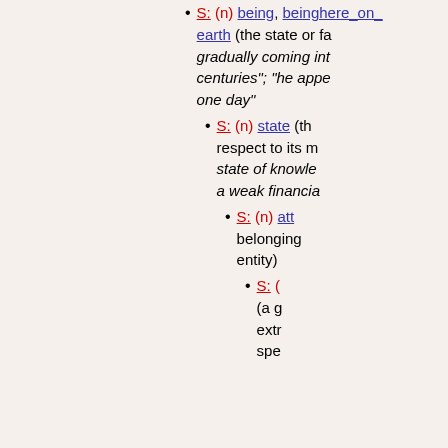S: (n) being, beinghere_on_earth (the state or fact of... gradually coming into... centuries; he appe... one day)
S: (n) state (the... respect to its m... state of knowle... a weak financia...)
S: (n) attr... belonging... entity)
S: (... (a g... ext... spe...)